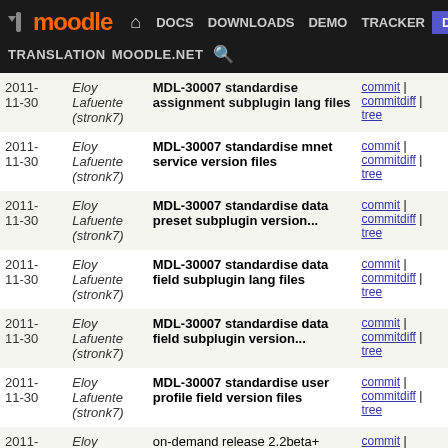moodle — DOCS DOWNLOADS DEMO TRACKER DEV — TRANSLATION MOODLE.NET
| Date | Author | Commit | Links |
| --- | --- | --- | --- |
| 2011-11-30 | Eloy Lafuente (stronk7) | MDL-30007 standardise assignment subplugin lang files | commit | commitdiff | tree |
| 2011-11-30 | Eloy Lafuente (stronk7) | MDL-30007 standardise mnet service version files | commit | commitdiff | tree |
| 2011-11-30 | Eloy Lafuente (stronk7) | MDL-30007 standardise data preset subplugin version... | commit | commitdiff | tree |
| 2011-11-30 | Eloy Lafuente (stronk7) | MDL-30007 standardise data field subplugin lang files | commit | commitdiff | tree |
| 2011-11-30 | Eloy Lafuente (stronk7) | MDL-30007 standardise data field subplugin version... | commit | commitdiff | tree |
| 2011-11-30 | Eloy Lafuente (stronk7) | MDL-30007 standardise user profile field version files | commit | commitdiff | tree |
| 2011-11-29 | Eloy Lafuente (stronk7) | on-demand release 2.2beta+ | commit | commitdiff | tree |
| 2011-11-29 | Eloy Lafuente (stronk7) | Merge branch 'install_master' of git://github.com/amosbot... | commit | commitdiff | tree |